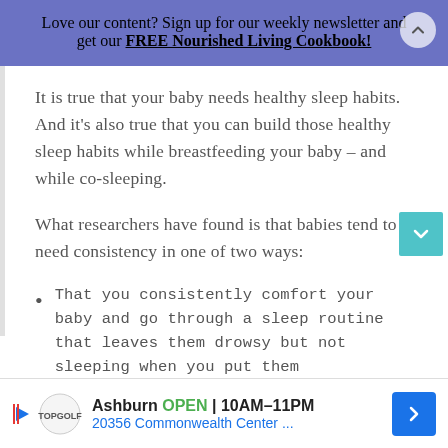Love our content? Sign up for our weekly newsletter and get our FREE Nourished Living Cookbook!
It is true that your baby needs healthy sleep habits. And it's also true that you can build those healthy sleep habits while breastfeeding your baby – and while co-sleeping.
What researchers have found is that babies tend to need consistency in one of two ways:
That you consistently comfort your baby and go through a sleep routine that leaves them drowsy but not sleeping when you put them